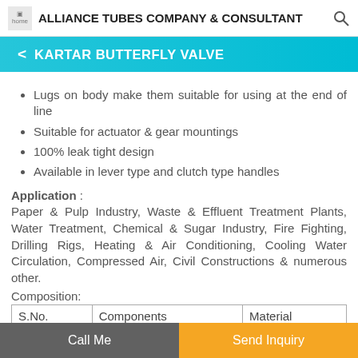ALLIANCE TUBES COMPANY & CONSULTANT
KARTAR BUTTERFLY VALVE
Lugs on body make them suitable for using at the end of line
Suitable for actuator & gear mountings
100% leak tight design
Available in lever type and clutch type handles
Application : Paper & Pulp Industry, Waste & Effluent Treatment Plants, Water Treatment, Chemical & Sugar Industry, Fire Fighting, Drilling Rigs, Heating & Air Conditioning, Cooling Water Circulation, Compressed Air, Civil Constructions & numerous other.
Composition:
| S.No. | Components | Material |
| --- | --- | --- |
Call Me | Send Inquiry